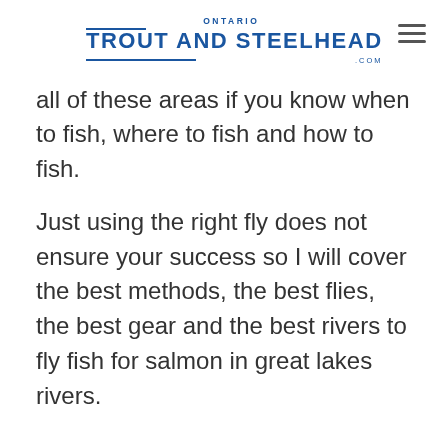ONTARIO TROUT AND STEELHEAD .COM
all of these areas if you know when to fish, where to fish and how to fish.
Just using the right fly does not ensure your success so I will cover the best methods, the best flies, the best gear and the best rivers to fly fish for salmon in great lakes rivers.